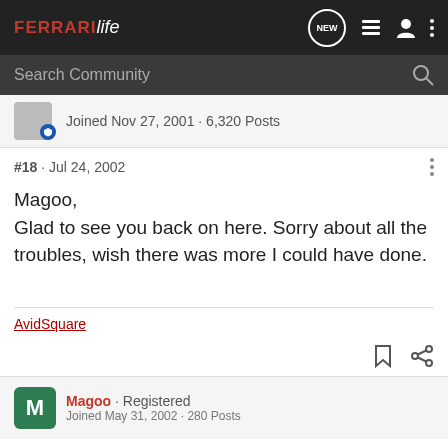FERRARI life
Search Community
Joined Nov 27, 2001 · 6,320 Posts
#18  ·  Jul 24, 2002
Magoo,
Glad to see you back on here. Sorry about all the troubles, wish there was more I could have done.
AvidSquare
Magoo · Registered